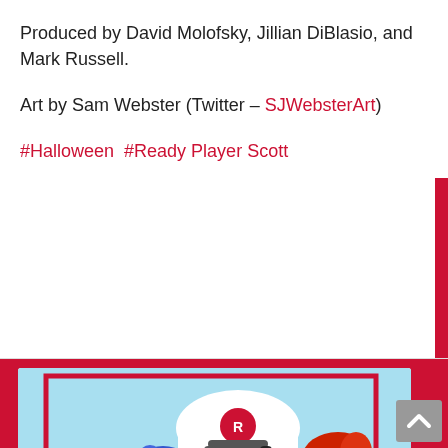Produced by David Molofsky, Jillian DiBlasio, and Mark Russell.
Art by Sam Webster (Twitter – SJWebsterArt)
#Halloween  #Ready Player Scott
[Figure (illustration): PodCapers podcast artwork showing a cartoon character with a red cape wearing a white cap, holding blue boxing gloves on one side and red boxing gloves on the other, with a microphone. Text reads PODCAPERS at the bottom. A play button overlay is visible.]
PodCapers Ep. 167: Steel (1997) Audio Commentary with Lindiwe Ngwevela